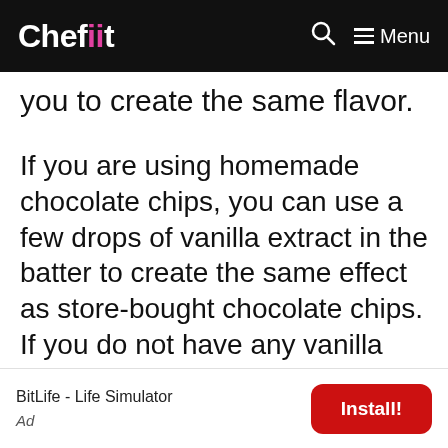Chefiit  🔍  ≡ Menu
you to create the same flavor.
If you are using homemade chocolate chips, you can use a few drops of vanilla extract in the batter to create the same effect as store-bought chocolate chips. If you do not have any vanilla extract at home, you can use a few drops of almond extract instead. If you are using store-bought chocolate chips and want to create the same effect as homemade chocolate chips, add a few drops of vanilla extract to the batter.
[Figure (infographic): Advertisement banner: BitLife - Life Simulator with Install! button]